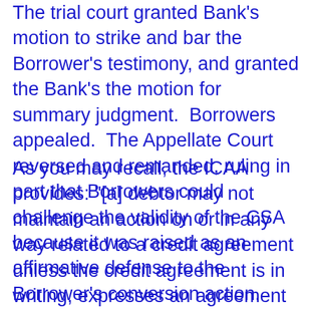The trial court granted Bank's motion to strike and bar the Borrower's testimony, and granted the Bank's the motion for summary judgment. Borrowers appealed. The Appellate Court reversed and remanded, ruling in part that Borrowers could challenge the validity of the CSA because it was raised as an affirmative defense to the Borrower's conversion action.
As you may recall, the ICAA provides: "[a] debtor may not maintain an action on or in any way related to a credit agreement unless the credit agreement is in writing, expresses an agreement or commitment to lend money or extend credit or delay or forebear repayment of money, sets forth the relevant terms and conditions, and is signed by the creditor and the debtor." 815 ILCS 160/2.
As to the question whether Borrowers had sufficiently raised a claim of mutual mistake of fact, the Appellate Court disagreed with Bank's argument that, because Borrowers did not actually plead reformation of the CSA, Borrowers were not permitted to raise the validity of the CSA as a challenge to the Bank's affirmative defense based on the